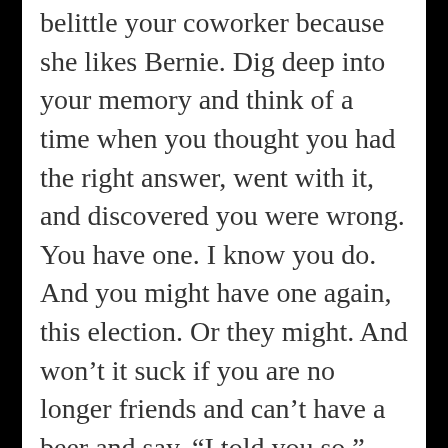belittle your coworker because she likes Bernie. Dig deep into your memory and think of a time when you thought you had the right answer, went with it, and discovered you were wrong. You have one. I know you do. And you might have one again, this election. Or they might. And won't it suck if you are no longer friends and can't have a beer and say, “I told you so.”
In the end, it’s just politics. Regardless of who gets elected, our day to day will change very little. We will get up, suck down some coffee, go to work, come home, walk the dog, make supper, play with the